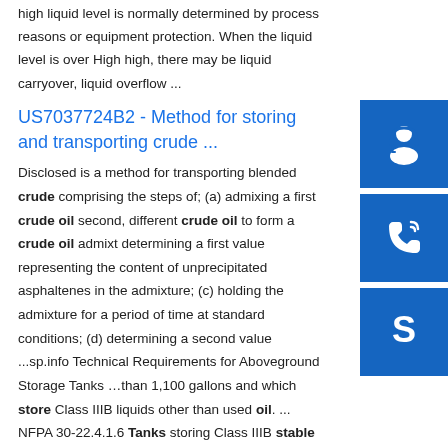high liquid level is normally determined by process reasons or equipment protection. When the liquid level is over High high, there may be liquid carryover, liquid overflow ...
US7037724B2 - Method for storing and transporting crude ...
Disclosed is a method for transporting blended crude comprising the steps of; (a) admixing a first crude oil second, different crude oil to form a crude oil admixture determining a first value representing the content of unprecipitated asphaltenes in the admixture; (c) holding the admixture for a period of time at standard conditions; (d) determining a second value ...sp.info Technical Requirements for Aboveground Storage Tanks …than 1,100 gallons and which store Class IIIB liquids other than used oil. ... NFPA 30-22.4.1.6 Tanks storing Class IIIB stable liquids shall be
[Figure (illustration): Three blue square buttons on the right sidebar: a headset/customer support icon, a phone/call icon, and a Skype icon]